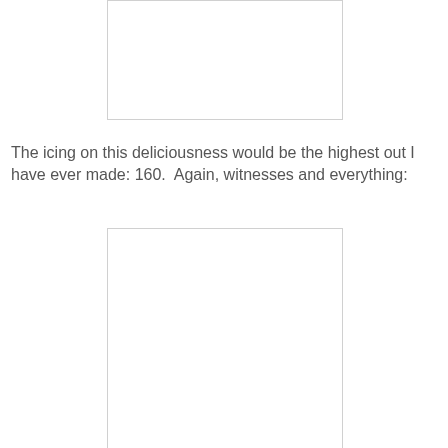[Figure (other): A white rectangular image placeholder with a light gray border, appearing at the top of the page.]
The icing on this deliciousness would be the highest out I have ever made: 160.  Again, witnesses and everything:
[Figure (other): A white rectangular image placeholder with a light gray border, appearing in the lower portion of the page.]